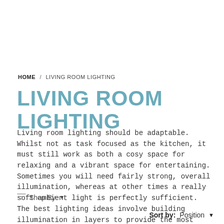HOME / LIVING ROOM LIGHTING
LIVING ROOM LIGHTING
Living room lighting should be adaptable. Whilst not as task focused as the kitchen, it must still work as both a cosy space for relaxing and a vibrant space for entertaining. Sometimes you will need fairly strong, overall illumination, whereas at other times a really soft ambient light is perfectly sufficient. The best lighting ideas involve building illumination in layers to provide the most impressive and flexible scheme.Modern... Read more +
Shop By
Sort by: Position